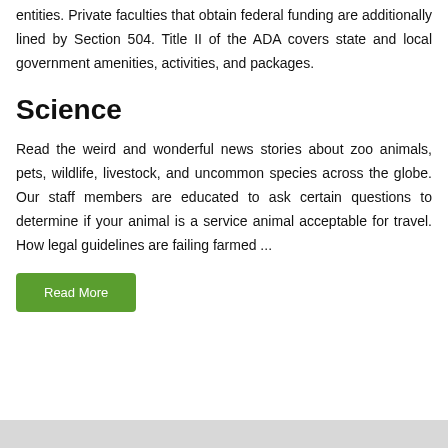entities. Private faculties that obtain federal funding are additionally lined by Section 504. Title II of the ADA covers state and local government amenities, activities, and packages.
Science
Read the weird and wonderful news stories about zoo animals, pets, wildlife, livestock, and uncommon species across the globe. Our staff members are educated to ask certain questions to determine if your animal is a service animal acceptable for travel. How legal guidelines are failing farmed ...
Read More